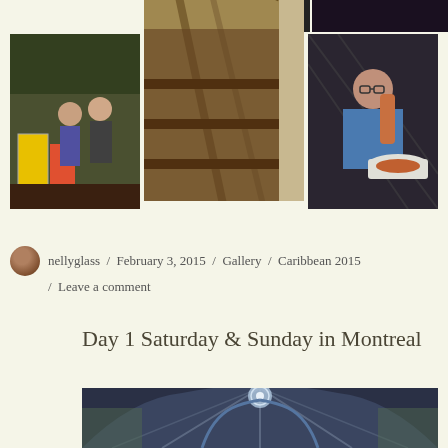[Figure (photo): Photo collage: top row has two partial photos of dark indoor scenes; second row has three photos - left shows two people in colorful outdoor setting, center shows Canadian flag hanging from wooden ceiling, right shows woman holding large food item at restaurant table.]
nellyglass / February 3, 2015 / Gallery / Caribbean 2015 / Leave a comment
Day 1 Saturday & Sunday in Montreal
[Figure (photo): Interior of ornate cathedral showing vaulted gothic ceiling with stained glass rose window and decorative arches in blue and gold tones.]